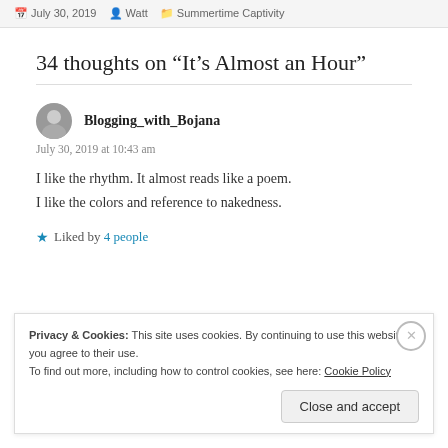July 30, 2019  Watt  Summertime Captivity
34 thoughts on “It’s Almost an Hour”
Blogging_with_Bojana
July 30, 2019 at 10:43 am
I like the rhythm. It almost reads like a poem.
I like the colors and reference to nakedness.
Liked by 4 people
Privacy & Cookies: This site uses cookies. By continuing to use this website, you agree to their use.
To find out more, including how to control cookies, see here: Cookie Policy
Close and accept